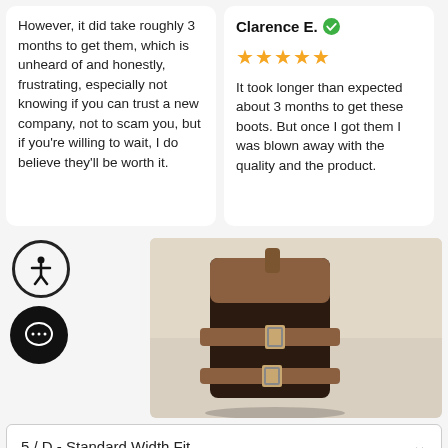However, it did take roughly 3 months to get them, which is unheard of and honestly, frustrating, especially not knowing if you can trust a new company, not to scam you, but if you're willing to wait, I do believe they'll be worth it.
Clarence E.
It took longer than expected about 3 months to get these boots. But once I got them I was blown away with the quality and the product.
[Figure (photo): Photo of dark brown boots with buckle detail on a carpet background]
5 / D - Standard Width Fit
ADD TO CART NOW